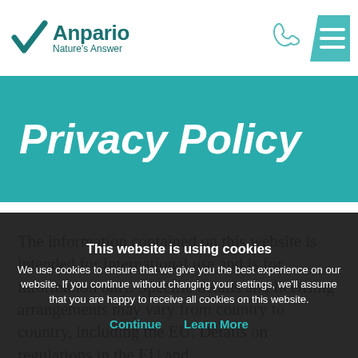Anpario Nature's Answer
Privacy Policy
The information contained on this website is intended for international use and is for information only. Specific details and licensing arrangements may vary from country to country, including the EU. Details on regulations in the EU and
This website is using cookies
We use cookies to ensure that we give you the best experience on our website. If you continue without changing your settings, we'll assume that you are happy to receive all cookies on this website.
Continue   Learn More